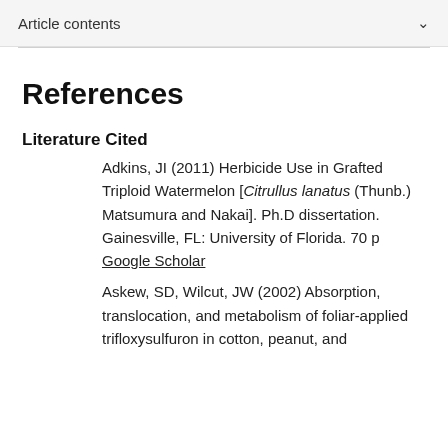Article contents
References
Literature Cited
Adkins, JI (2011) Herbicide Use in Grafted Triploid Watermelon [Citrullus lanatus (Thunb.) Matsumura and Nakai]. Ph.D dissertation. Gainesville, FL: University of Florida. 70 p Google Scholar
Askew, SD, Wilcut, JW (2002) Absorption, translocation, and metabolism of foliar-applied trifloxysulfuron in cotton, peanut, and